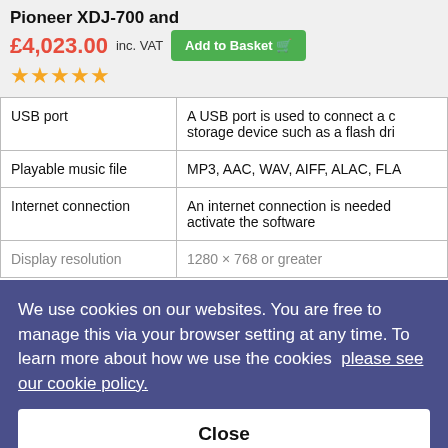Pioneer XDJ-700 and
£4,023.00 inc. VAT
Add to Basket
★★★★★
| Feature | Description |
| --- | --- |
| USB port | A USB port is used to connect a storage device such as a flash dri |
| Playable music file | MP3, AAC, WAV, AIFF, ALAC, FLA |
| Internet connection | An internet connection is needed activate the software |
| Display resolution | 1280 × 768 or greater |
We use cookies on our websites. You are free to manage this via your browser setting at any time. To learn more about how we use the cookies please see our cookie policy.
Close
Pioneer DJM-V10
KE
Elite sound quality
Feel the warmth of the mixer's natural sound and hear every detail in